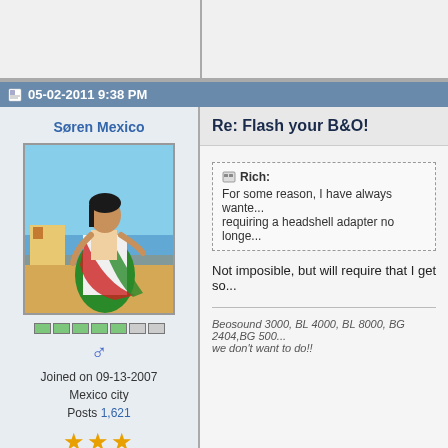05-02-2011 9:38 PM
Søren Mexico
[Figure (illustration): Avatar image of a woman in traditional Mexican dress dancing on a beach]
Joined on 09-13-2007
Mexico city
Posts 1,621
Re: Flash your B&O!
Rich: For some reason, I have always wante... requiring a headshell adapter no longe...
Not imposible, but will require that I get so...
Beosound 3000, BL 4000, BL 8000, BG 2404,BG 500... we don't want to do!!
05-02-2011 9:44 PM